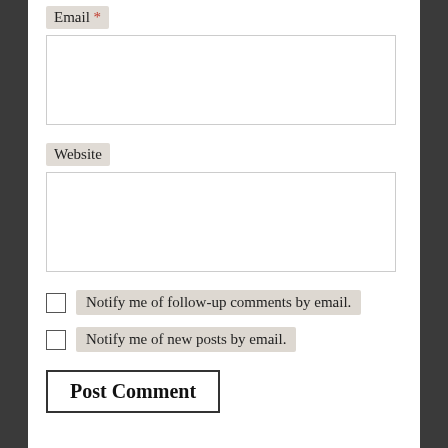Email *
Website
Notify me of follow-up comments by email.
Notify me of new posts by email.
Post Comment
This site uses Akismet to reduce spam. Learn how your comment data is processed.